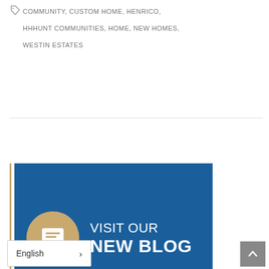COMMUNITY, CUSTOM HOME, HENRICO, HHHUNT COMMUNITIES, HOME, NEW HOMES, WESTIN ESTATES
[Figure (illustration): Blue banner with tan chat bubble icon and white text reading VISIT OUR NEW BLOG]
ARCHIVES
Select Month
English